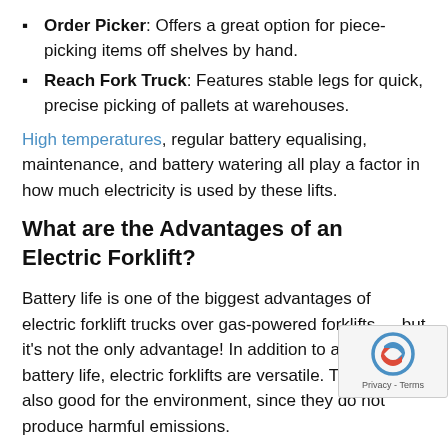Order Picker: Offers a great option for piece-picking items off shelves by hand.
Reach Fork Truck: Features stable legs for quick, precise picking of pallets at warehouses.
High temperatures, regular battery equalising, maintenance, and battery watering all play a factor in how much electricity is used by these lifts.
What are the Advantages of an Electric Forklift?
Battery life is one of the biggest advantages of electric forklift trucks over gas-powered forklifts — but it's not the only advantage! In addition to a long battery life, electric forklifts are versatile. They are also good for the environment, since they do not produce harmful emissions.
Furthermore, electric forklifts are quieter than gas lifts. The warning horns and backup signals can often be heard more clearly from an electric forklift